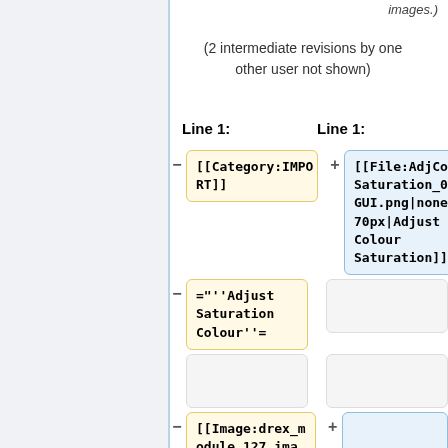images.)
(2 intermediate revisions by one other user not shown)
Line 1:
Line 1:
[[Category:IMPORT]]
[[File:AdjColourSaturation_00_GUI.png|none|470px|Adjust Colour Saturation]]
=""Adjust Saturation Colour""=
[[Image:drex_module_127_image_0.png|485px|Adjust